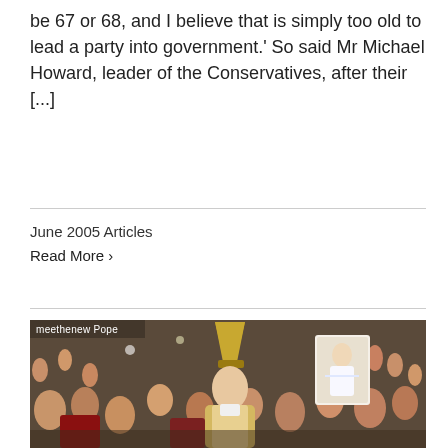be 67 or 68, and I believe that is simply too old to lead a party into government.' So said Mr Michael Howard, leader of the Conservatives, after their [...]
June 2005 Articles
Read More >
[Figure (photo): A photograph of a Pope wearing a mitre (tall pointed hat) surrounded by a large crowd of people, many with outstretched hands. Someone in the crowd holds up an image of Jesus. The watermark text 'meethenew Pope' appears in the top left corner.]